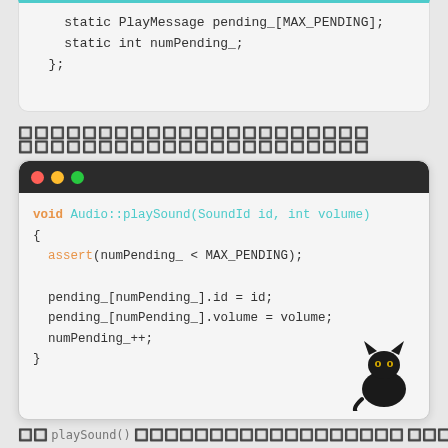[Figure (screenshot): Top code box showing C++ class static members: 'static PlayMessage pending_[MAX_PENDING];' and 'static int numPending_;' with closing '};']
██████████████████████ ███████████████████
[Figure (screenshot): macOS-style terminal window showing C++ function: void Audio::playSound(SoundId id, int volume) with assert, pending_ array assignments and numPending_++]
██ playSound() ████████████████████ █████████